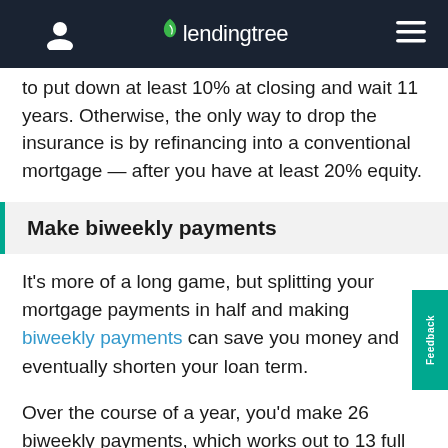lendingtree
to put down at least 10% at closing and wait 11 years. Otherwise, the only way to drop the insurance is by refinancing into a conventional mortgage — after you have at least 20% equity.
Make biweekly payments
It's more of a long game, but splitting your mortgage payments in half and making biweekly payments can save you money and eventually shorten your loan term.
Over the course of a year, you'd make 26 biweekly payments, which works out to 13 full payments. If you start biweekly payments when you first borrow your